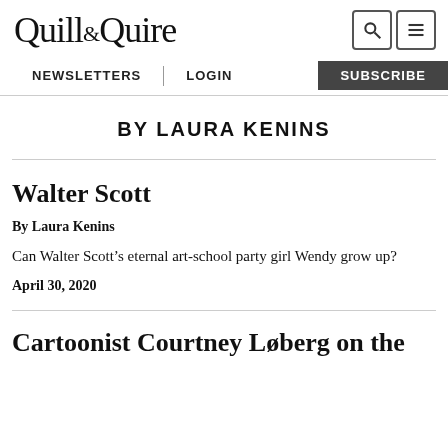Quill & Quire
NEWSLETTERS | LOGIN | SUBSCRIBE
BY LAURA KENINS
Walter Scott
By Laura Kenins
Can Walter Scott’s eternal art-school party girl Wendy grow up?
April 30, 2020
Cartoonist Courtney Løberg on the